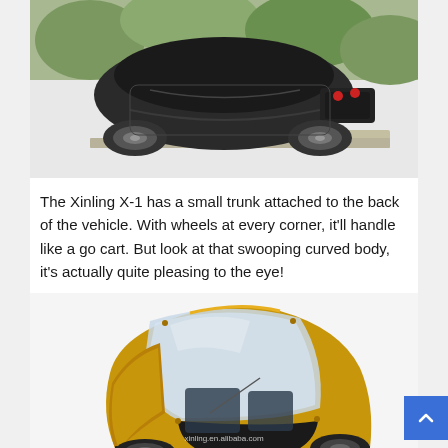[Figure (photo): Rear/top view of a dark colored Xinling X-1 electric vehicle showing the small trunk attachment at the back, wheels visible at corners, parked on a platform or ramp with foliage in background.]
The Xinling X-1 has a small trunk attached to the back of the vehicle. With wheels at every corner, it'll handle like a go cart. But look at that swooping curved body, it's actually quite pleasing to the eye!
[Figure (photo): Front three-quarter view of a gold/yellow colored Xinling X-1 electric microcar with a large curved transparent windshield, open door visible, and black trim. Watermark reads xinling.en.alibaba.com]